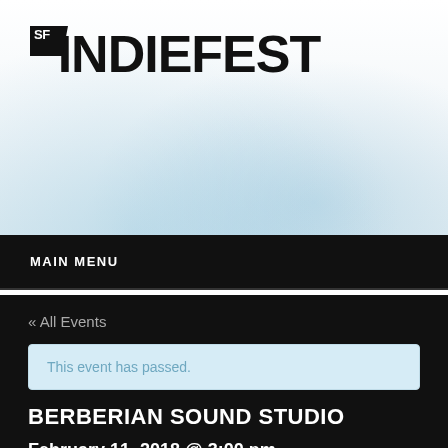[Figure (logo): SF IndieFest logo — bold black block with SF text over a dark flag shape, followed by INDIEFEST in large bold black letters]
MAIN MENU
« All Events
This event has passed.
BERBERIAN SOUND STUDIO
February 11, 2018 @ 3:00 pm